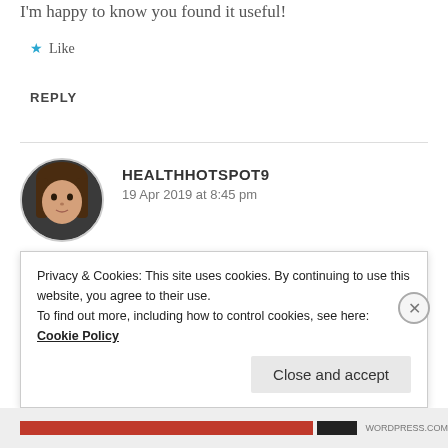I'm happy to know you found it useful!
★ Like
REPLY
HEALTHHOTSPOT9
19 Apr 2019 at 8:45 pm
I agree with you on the “blind likes.” 🙂
Privacy & Cookies: This site uses cookies. By continuing to use this website, you agree to their use.
To find out more, including how to control cookies, see here: Cookie Policy
Close and accept